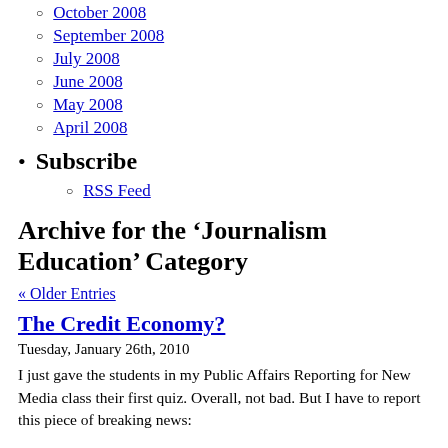October 2008
September 2008
July 2008
June 2008
May 2008
April 2008
Subscribe
RSS Feed
Archive for the ‘Journalism Education’ Category
« Older Entries
The Credit Economy?
Tuesday, January 26th, 2010
I just gave the students in my Public Affairs Reporting for New Media class their first quiz. Overall, not bad. But I have to report this piece of breaking news: